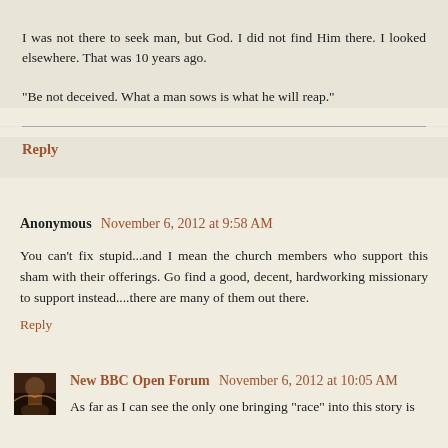I was not there to seek man, but God. I did not find Him there. I looked elsewhere. That was 10 years ago.
"Be not deceived. What a man sows is what he will reap."
Reply
Anonymous November 6, 2012 at 9:58 AM
You can't fix stupid...and I mean the church members who support this sham with their offerings. Go find a good, decent, hardworking missionary to support instead....there are many of them out there.
Reply
New BBC Open Forum November 6, 2012 at 10:05 AM
As far as I can see the only one bringing "race" into this story is